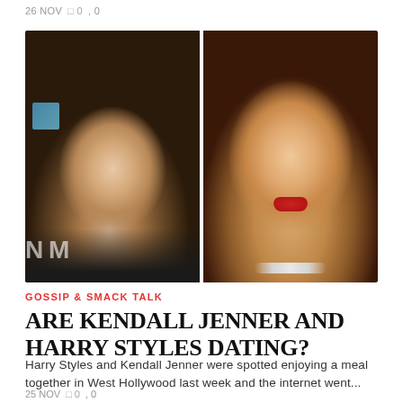26 NOV  0  0
[Figure (photo): Two celebrity photos side by side: left shows a young man with curly brown hair and blue eyes wearing a black suit (Harry Styles); right shows a young woman with long straight black hair and red lips wearing a silver necklace (Kendall Jenner).]
GOSSIP & SMACK TALK
ARE KENDALL JENNER AND HARRY STYLES DATING?
Harry Styles and Kendall Jenner were spotted enjoying a meal together in West Hollywood last week and the internet went...
25 NOV  0  0